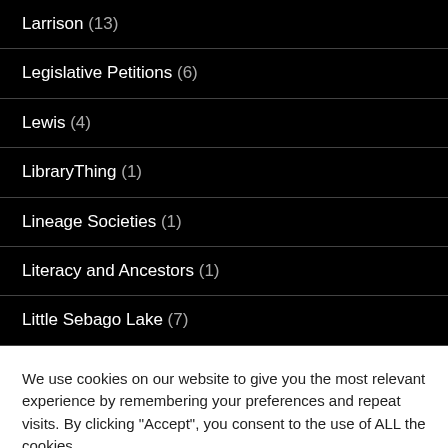Larrison (13)
Legislative Petitions (6)
Lewis (4)
LibraryThing (1)
Lineage Societies (1)
Literacy and Ancestors (1)
Little Sebago Lake (7)
We use cookies on our website to give you the most relevant experience by remembering your preferences and repeat visits. By clicking “Accept”, you consent to the use of ALL the cookies.
Do not sell my personal information.
Cookie settings
ACCEPT